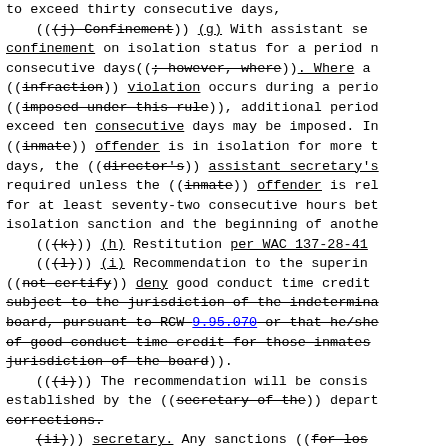to exceed thirty consecutive days,
    (((j) Confinement)) (g) With assistant secretary confinement on isolation status for a period not to exceed thirty consecutive days((; however, where)). Where a ((infraction)) violation occurs during a period ((imposed under this rule)), additional periods not to exceed ten consecutive days may be imposed. In no case may an ((inmate)) offender is in isolation for more than thirty days, the ((director's)) assistant secretary's approval is required unless the ((inmate)) offender is released for at least seventy-two consecutive hours between an isolation sanction and the beginning of another.
    (((k))) (h) Restitution per WAC 137-28-41...
    (((l))) (i) Recommendation to the superintendent to ((not certify)) deny good conduct time credit for those inmates subject to the jurisdiction of the indeterminate sentence review board, pursuant to RCW 9.95.070 or that he/she be denied of good conduct time credit for those inmates subject to jurisdiction of the board)).
    (((i))) The recommendation will be consistent with criteria established by the ((secretary of the)) department of corrections.
    (ii)) secretary. Any sanctions ((for loss of good time credits)) in excess of the guidelines ((established by the secretary of the department of corrections must be approved by the deputy secretary.